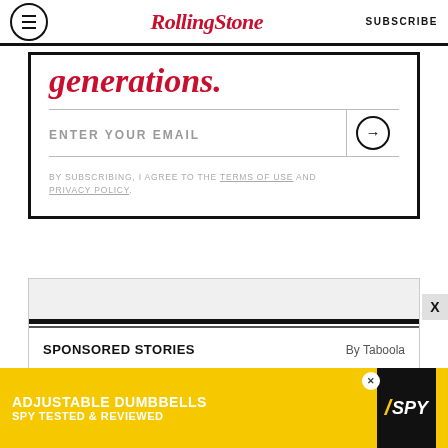RollingStone | SUBSCRIBE
generations.
ENTER YOUR EMAIL
BY SUBSCRIBING, I AGREE TO THE TERMS OF USE AND PRIVACY POLICY.
SPONSORED STORIES
By Taboola
[Figure (screenshot): Advertisement banner: ADJUSTABLE DUMBBELLS SPY TESTED & REVIEWED on yellow background with SPY logo]
X